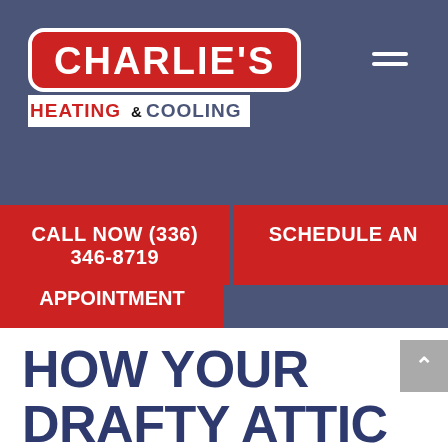[Figure (logo): Charlie's Heating & Cooling logo — red rounded rectangle with white CHARLIE'S text, and HEATING & COOLING below on white background]
CALL NOW (336) 346-8719
SCHEDULE AN APPOINTMENT
HOW YOUR DRAFTY ATTIC MIGHT BE UPPING YOUR